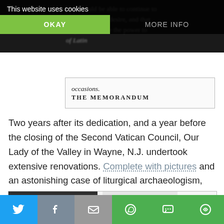[Figure (screenshot): Dark background with blurred italic text about Latin and occasions, partially visible behind cookie banner]
[Figure (screenshot): Clipped newspaper clipping showing 'occasions.' and 'THE MEMORANDUM' in bold uppercase]
This website uses cookies
OKAY   MORE INFO
Two years after its dedication, and a year before the closing of the Second Vatican Council, Our Lady of the Valley in Wayne, N.J. undertook extensive renovations. Complete with pictures and an astonishing case of liturgical archaeologism, active participation was cited as the desired fruit of separating the altar from the wall and having the priest face the people:
[Figure (photo): Two newspaper photographs partially visible in a bordered box at the bottom of the page]
[Figure (screenshot): Social sharing bar with Twitter, Facebook, Email, WhatsApp, SMS, and More buttons]